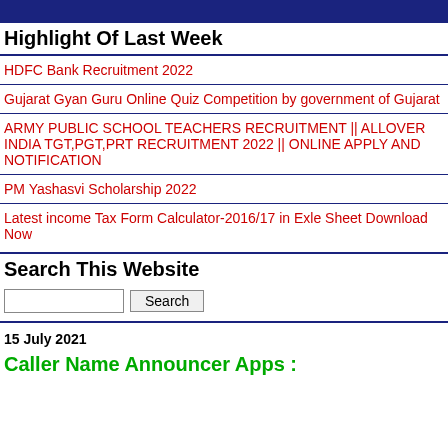Highlight Of Last Week
HDFC Bank Recruitment 2022
Gujarat Gyan Guru Online Quiz Competition by government of Gujarat
ARMY PUBLIC SCHOOL TEACHERS RECRUITMENT || ALLOVER INDIA TGT,PGT,PRT RECRUITMENT 2022 || ONLINE APPLY AND NOTIFICATION
PM Yashasvi Scholarship 2022
Latest income Tax Form Calculator-2016/17 in Exle Sheet Download Now
Search This Website
Search
15 July 2021
Caller Name Announcer Apps :